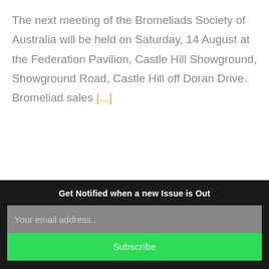The next meeting of the Bromeliads Society of Australia will be held on Saturday, 14 August at the Federation Pavilion, Castle Hill Showground, Showground Road, Castle Hill off Doran Drive. Bromeliad sales [...]
Get Notified when a new Issue is Out